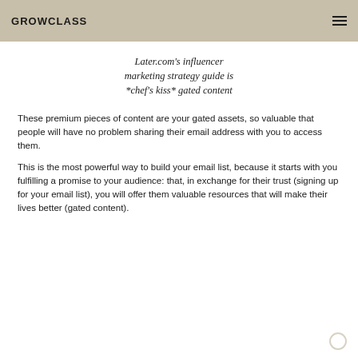GROWCLASS
Later.com's influencer marketing strategy guide is *chef's kiss* gated content
These premium pieces of content are your gated assets, so valuable that people will have no problem sharing their email address with you to access them.
This is the most powerful way to build your email list, because it starts with you fulfilling a promise to your audience: that, in exchange for their trust (signing up for your email list), you will offer them valuable resources that will make their lives better (gated content).